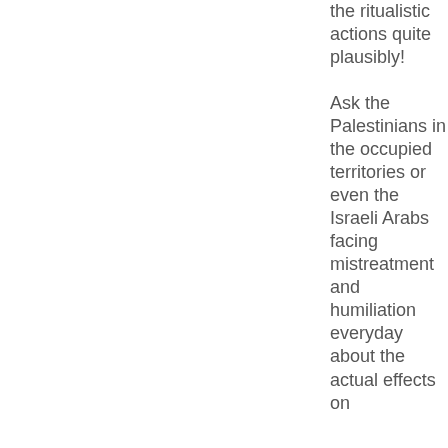the ritualistic actions quite plausibly! Ask the Palestinians in the occupied territories or even the Israeli Arabs facing mistreatment and humiliation everyday about the actual effects on